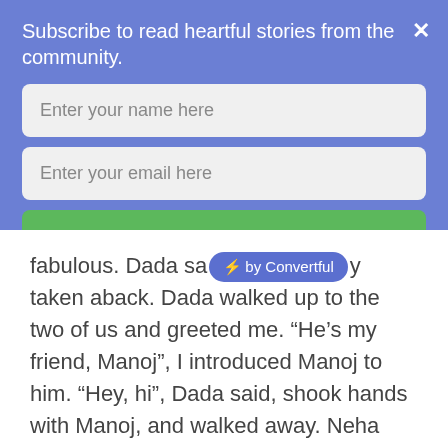Subscribe to read heartful stories from the community.
Enter your name here
Enter your email here
submit
fabulous. Dada sa⚡by Convertful y taken aback. Dada walked up to the two of us and greeted me. “He’s my friend, Manoj”, I introduced Manoj to him. “Hey, hi”, Dada said, shook hands with Manoj, and walked away. Neha saw us from her balcony in the next building, and waved at me. Manoj was unsure if he should wave as well.
2012 May | Pune